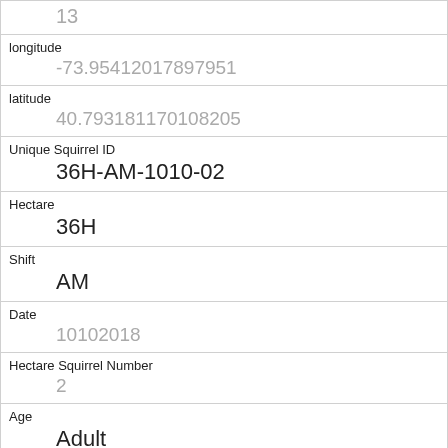| 13 |
| longitude | -73.95412017897951 |
| latitude | 40.793181170108205 |
| Unique Squirrel ID | 36H-AM-1010-02 |
| Hectare | 36H |
| Shift | AM |
| Date | 10102018 |
| Hectare Squirrel Number | 2 |
| Age | Adult |
| Primary Fur Color | Gray |
| Highlight Fur Color |  |